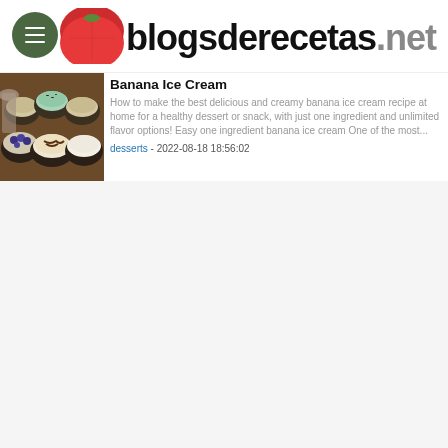blogsderecetas.net
Banana Ice Cream
How to make the best delicious and creamy banana ice cream recipe at home for a healthy dessert or snack, with just one ingredient and unlimited flavor options! Easy one ingredient banana ice cream One of the most...
desserts - 2022-08-18 18:56:02
[Figure (photo): Several small bowls of ice cream with various toppings including blueberries and chocolate drizzle, arranged on a wooden surface]